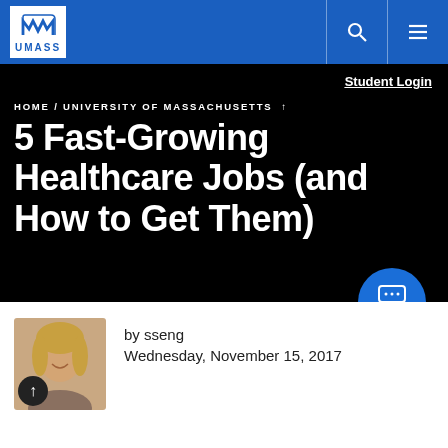UMASS navigation bar with logo, search and menu icons
Student Login
HOME / UNIVERSITY OF MASSACHUSETTS ↑
5 Fast-Growing Healthcare Jobs (and How to Get Them)
[Figure (illustration): Blue circular chat button with speech bubble icon and 'Chat' label]
[Figure (photo): Author photo of a woman with blonde hair, with a dark scroll-to-top button overlay in bottom left]
by sseng
Wednesday, November 15, 2017